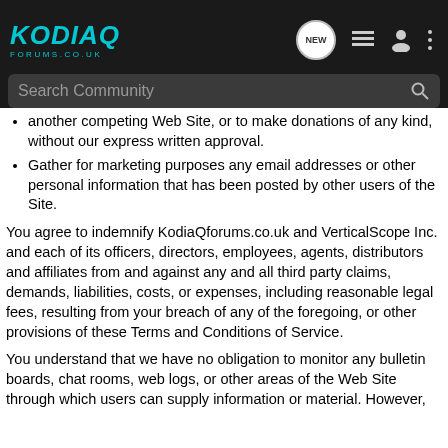KODIAQ FORUMS.CO.UK
another competing Web Site, or to make donations of any kind, without our express written approval.
Gather for marketing purposes any email addresses or other personal information that has been posted by other users of the Site.
You agree to indemnify KodiaQforums.co.uk and VerticalScope Inc. and each of its officers, directors, employees, agents, distributors and affiliates from and against any and all third party claims, demands, liabilities, costs, or expenses, including reasonable legal fees, resulting from your breach of any of the foregoing, or other provisions of these Terms and Conditions of Service.
You understand that we have no obligation to monitor any bulletin boards, chat rooms, web logs, or other areas of the Web Site through which users can supply information or material. However,